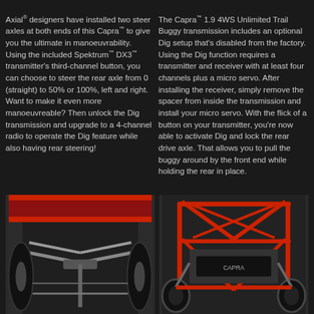Axial® designers have installed two steer axles at both ends of this Capra™ to give you the ultimate in manoeuvrability. Using the included Spektrum™ DX3™ transmitter's third-channel button, you can choose to steer the rear axle from 0 (straight) to 50% or 100%, left and right. Want to make it even more manoeuvreable? Then unlock the Dig transmission and upgrade to a 4-channel radio to operate the Dig feature while also having rear steering!
The Capra™ 1.9 4WS Unlimited Trail Buggy transmission includes an optional Dig setup that's disabled from the factory. Using the Dig function requires a transmitter and receiver with at least four channels plus a micro servo. After installing the receiver, simply remove the spacer from inside the transmission and install your micro servo. With the flick of a button on your transmitter, you're now able to activate Dig and lock the rear drive axle. That allows you to pull the buggy around by the front end while holding the rear in place.
[Figure (photo): Close-up undercarriage view of the Capra 1.9 4WS Unlimited Trail Buggy showing metal chassis, suspension arms and axles from below, with red roll cage frame visible.]
[Figure (photo): Front view of the Capra 1.9 4WS Unlimited Trail Buggy showing red tubular roll cage frame, large knobby tires, and buggy branding on the body.]